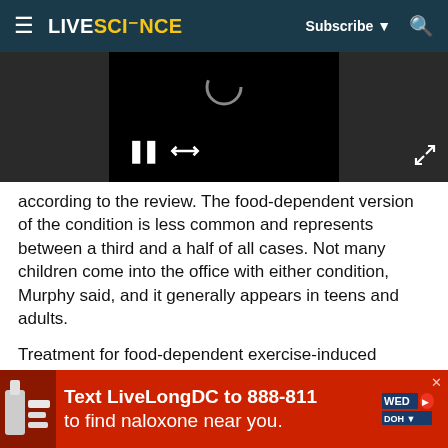LIVESCIENCE | Subscribe | Search
[Figure (screenshot): Video player showing a black screen with a loading circle, pause button, and expand icon. Dark background surrounds the centered player.]
according to the review. The food-dependent version of the condition is less common and represents between a third and a half of all cases. Not many children come into the office with either condition, Murphy said, and it generally appears in teens and adults.
Treatment for food-dependent exercise-induced anaphylaxis is simple: Don't eat for four hours before and after working out, according to a review in the journal Expert Review of Clinical Immunology. Another
[Figure (photo): Advertisement banner: Text LiveLongDC to 888-811 to find naloxone near you. Red background with white text. DC Health logos on right side. Image of hands/medication on left.]